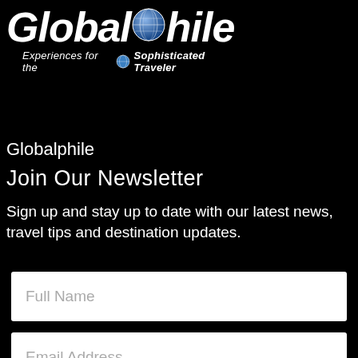[Figure (logo): Globalphile logo with globe icon — italic bold white text 'Globalphile' with tagline 'Experiences for the Sophisticated Traveler']
Globalphile
Join Our Newsletter
Sign up and stay up to date with our latest news, travel tips and destination updates.
Full Name
Email Address
Submit